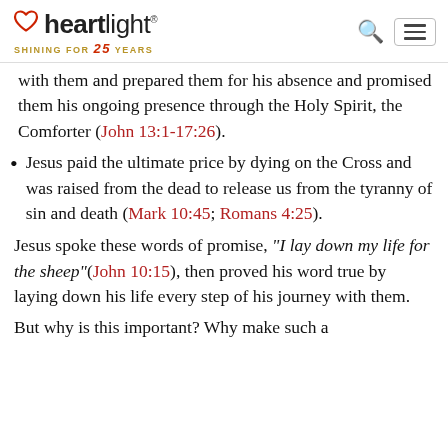heartlight® SHINING FOR 25 YEARS
with them and prepared them for his absence and promised them his ongoing presence through the Holy Spirit, the Comforter (John 13:1-17:26).
Jesus paid the ultimate price by dying on the Cross and was raised from the dead to release us from the tyranny of sin and death (Mark 10:45; Romans 4:25).
Jesus spoke these words of promise, "I lay down my life for the sheep" (John 10:15), then proved his word true by laying down his life every step of his journey with them.
But why is this important? Why make such a